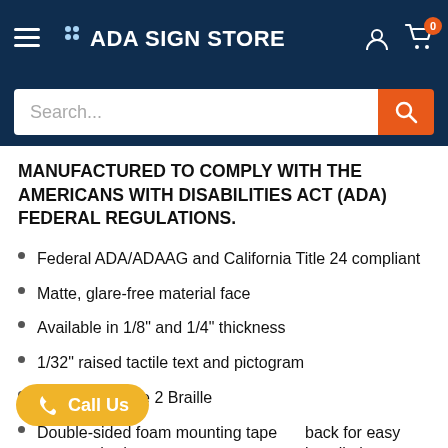ADA SIGN STORE
MANUFACTURED TO COMPLY WITH THE AMERICANS WITH DISABILITIES ACT (ADA) FEDERAL REGULATIONS.
Federal ADA/ADAAG and California Title 24 compliant
Matte, glare-free material face
Available in 1/8" and 1/4" thickness
1/32" raised tactile text and pictogram
Clear CA Grade 2 Braille
Double-sided foam mounting tape pre-attached on back for easy installation
UV and solvent resistant